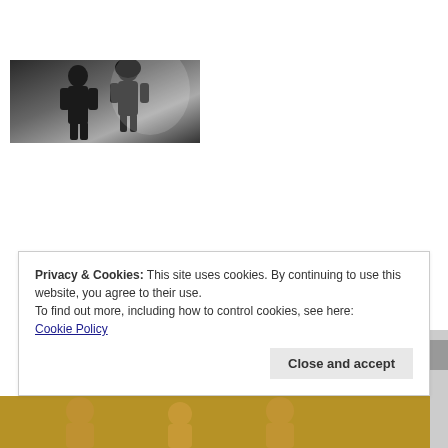SATURN 'Knife'
11th August 2022
In "Features"
Mirror Maze
9th August 2022
In "Dreampop"
[Figure (photo): Black and white photo of two people standing together]
WL//WH Track Of The Day: DOCKS “Lilas”
13th June 2022
In "Features"
Privacy & Cookies: This site uses cookies. By continuing to use this website, you agree to their use.
To find out more, including how to control cookies, see here:
Cookie Policy
Close and accept